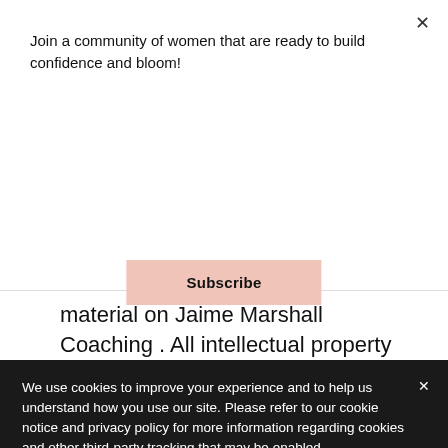Join a community of women that are ready to build confidence and bloom!
Subscribe
material on Jaime Marshall Coaching . All intellectual property rights are reserved. You may access this from Jaime Marshall Coaching for your own personal use subjected to restrictions
We use cookies to improve your experience and to help us understand how you use our site. Please refer to our cookie notice and privacy policy for more information regarding cookies and other third-party tracking that may be enabled.
Sell, rent or sub-license material